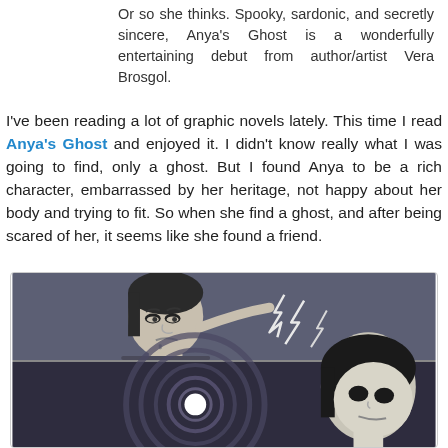Or so she thinks. Spooky, sardonic, and secretly sincere, Anya's Ghost is a wonderfully entertaining debut from author/artist Vera Brosgol.
I've been reading a lot of graphic novels lately. This time I read Anya's Ghost and enjoyed it. I didn't know really what I was going to find, only a ghost. But I found Anya to be a rich character, embarrassed by her heritage, not happy about her body and trying to fit. So when she find a ghost, and after being scared of her, it seems like she found a friend.
[Figure (illustration): Two comic panels from Anya's Ghost. Top panel: a dark-skinned girl with dark hair looking exasperated, gesturing with one hand toward lightning bolt symbols. Bottom panel: a dark swirling background with a white moon/circle, and a ghostly pale figure with dark hair visible on the right side.]